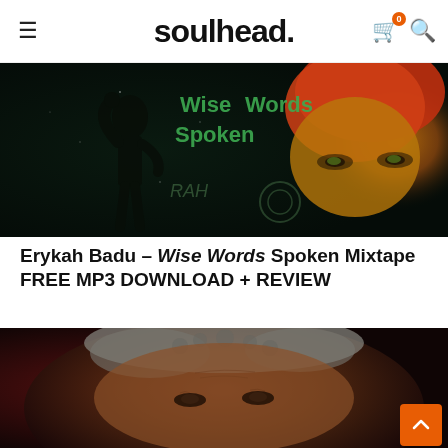soulhead (logo with menu icon, cart icon with badge 0, search icon)
[Figure (photo): Album art for Wise Words Spoken mixtape: dark background with silhouette of a person flexing, text 'Wise Words Spoken' in green, face of woman with red/yellow headwrap on right side]
Erykah Badu – Wise Words Spoken Mixtape FREE MP3 DOWNLOAD + REVIEW
[Figure (photo): Close-up portrait photograph of a person with natural grey/white hair, brown skin, serious expression, dark red/brown background]